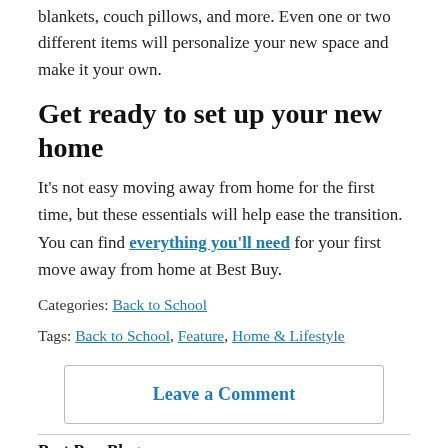blankets, couch pillows, and more. Even one or two different items will personalize your new space and make it your own.
Get ready to set up your new home
It's not easy moving away from home for the first time, but these essentials will help ease the transition. You can find everything you'll need for your first move away from home at Best Buy.
Categories: Back to School
Tags: Back to School, Feature, Home & Lifestyle
Leave a Comment
Best Buy Blog